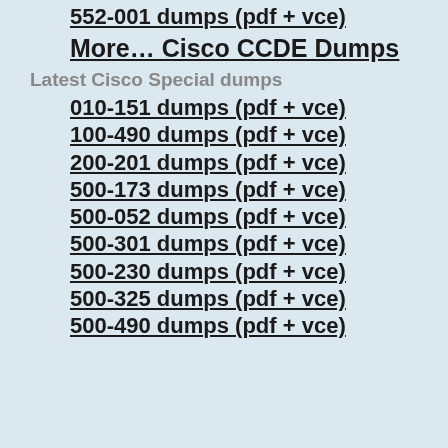552-001 dumps (pdf + vce)
More… Cisco CCDE Dumps
Latest Cisco Special dumps
010-151 dumps (pdf + vce)
100-490 dumps (pdf + vce)
200-201 dumps (pdf + vce)
500-173 dumps (pdf + vce)
500-052 dumps (pdf + vce)
500-301 dumps (pdf + vce)
500-230 dumps (pdf + vce)
500-325 dumps (pdf + vce)
500-490 dumps (pdf + vce)